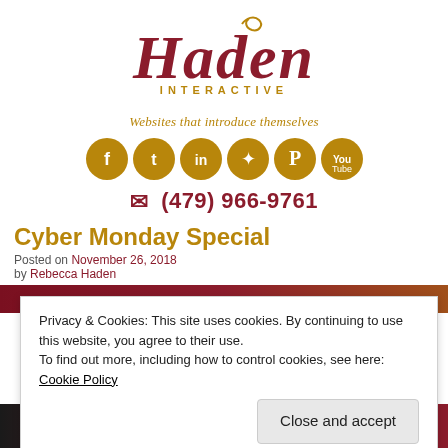[Figure (logo): Haden Interactive logo — stylized script 'Haden' in dark red with 'INTERACTIVE' in gold below]
Websites that introduce themselves
[Figure (infographic): Six gold social media icon circles: Facebook, Twitter, LinkedIn, App Store, Pinterest, YouTube]
✉ (479) 966-9761
Cyber Monday Special
Posted on November 26, 2018 by Rebecca Haden
Privacy & Cookies: This site uses cookies. By continuing to use this website, you agree to their use.
To find out more, including how to control cookies, see here: Cookie Policy
Close and accept
STRATEGY